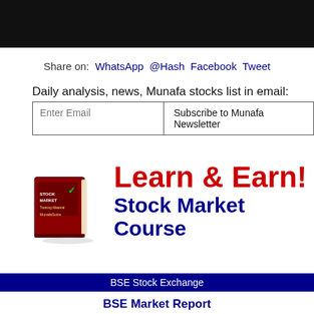[Figure (other): Black banner image at top of page]
Share on:  WhatsApp  @Hash  Facebook  Tweet
Daily analysis, news, Munafa stocks list in email:
Enter Email   Subscribe to Munafa Newsletter
[Figure (illustration): Book image with text STOCK MARKET Training Material MunafaSutra alongside Learn & Earn! Stock Market Course advertisement]
BSE Stock Exchange
BSE Market Report